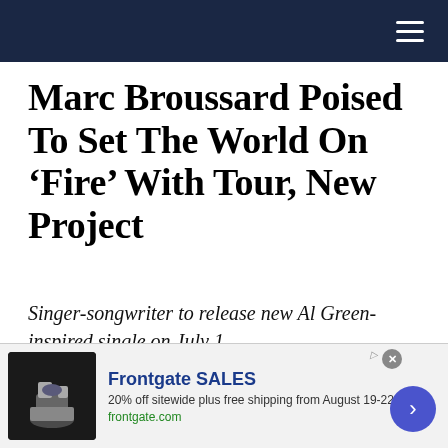Navigation bar with hamburger menu
Marc Broussard Poised To Set The World On ‘Fire’ With Tour, New Project
Singer-songwriter to release new Al Green-inspired single on July 1.
By Percy Lovell Crawford  June 23, 2022
Facebook  Twitter  Linkedin  Email
[Figure (photo): Dark blue/purple toned photo strip at bottom of article area]
[Figure (infographic): Frontgate SALES advertisement banner: 20% off sitewide plus free shipping from August 19-22, frontgate.com, with outdoor furniture image and blue CTA button]